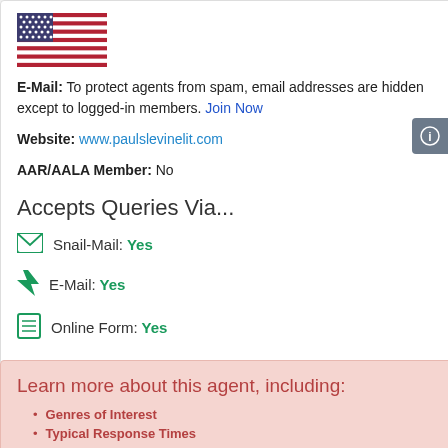[Figure (illustration): US flag icon]
E-Mail: To protect agents from spam, email addresses are hidden except to logged-in members. Join Now
Website: www.paulslevinelit.com
AAR/AALA Member: No
Accepts Queries Via...
Snail-Mail: Yes
E-Mail: Yes
Online Form: Yes
Learn more about this agent, including:
Genres of Interest
Typical Response Times